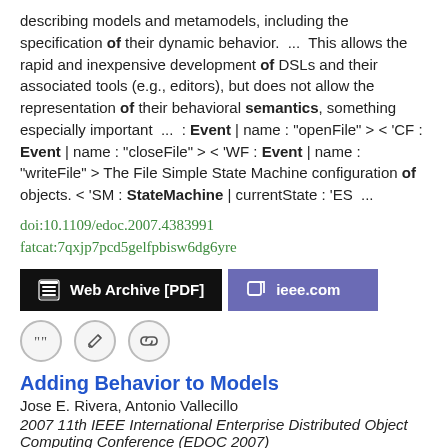describing models and metamodels, including the specification of their dynamic behavior. ... This allows the rapid and inexpensive development of DSLs and their associated tools (e.g., editors), but does not allow the representation of their behavioral semantics, something especially important ... : Event | name : "openFile" > < 'CF : Event | name : "closeFile" > < 'WF : Event | name : "writeFile" > The File Simple State Machine configuration of objects. < 'SM : StateMachine | currentState : 'ES ...
doi:10.1109/edoc.2007.4383991
fatcat:7qxjp7pcd5gelfpbisw6dg6yre
[Figure (other): Two buttons: 'Web Archive [PDF]' (black background) and 'ieee.com' (purple background), followed by three circular icon buttons (quote, edit, link).]
Adding Behavior to Models
Jose E. Rivera, Antonio Vallecillo
2007 11th IEEE International Enterprise Distributed Object Computing Conference (EDOC 2007)
In this paper we explore the use of Maude as a formal notation for describing models and metamodels, including the specification of their dynamic behavior. This allows the rapid and inexpensive...